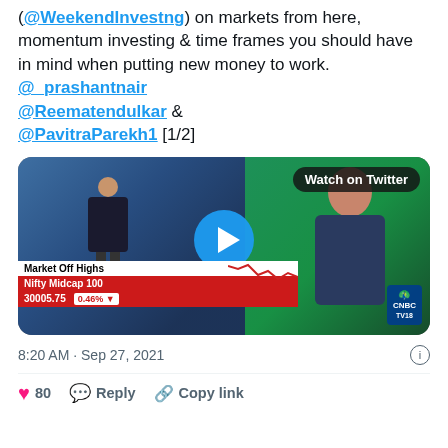(@WeekendInvestng) on markets from here, momentum investing & time frames you should have in mind when putting new money to work. @_prashantnair @Reematendulkar & @PavitraParekh1 [1/2]
[Figure (screenshot): Video thumbnail of a CNBC TV18 broadcast showing 'Market Off Highs', Nifty Midcap 100 at 30005.75, down 0.46%, with a play button overlay and 'Watch on Twitter' badge]
8:20 AM · Sep 27, 2021
80   Reply   Copy link